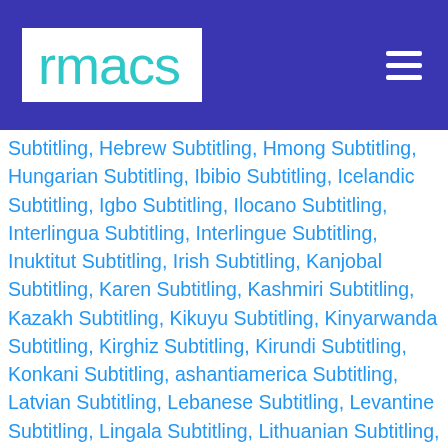rmacs
Subtitling, Hebrew Subtitling, Hmong Subtitling, Hungarian Subtitling, Ibibio Subtitling, Icelandic Subtitling, Igbo Subtitling, Ilocano Subtitling, Interlingua Subtitling, Interlingue Subtitling, Inuktitut Subtitling, Irish Subtitling, Kanjobal Subtitling, Karen Subtitling, Kashmiri Subtitling, Kazakh Subtitling, Kikuyu Subtitling, Kinyarwanda Subtitling, Kirghiz Subtitling, Kirundi Subtitling, Konkani Subtitling, ashantiamerica Subtitling, Latvian Subtitling, Lebanese Subtitling, Levantine Subtitling, Lingala Subtitling, Lithuanian Subtitling, Luganda Subtitling, Macedonian Subtitling, Maghrebi Subtitling, Malagasy Subtitling, Malayalam Subtitling, Maltes Subtitling, Mandingo Subtitling, Mandinka Subtitling, Maori Subtitling, Marshallese Subtitling, Mien Subtitling, Mi Subtitling, Moldovan Subtitling, Mongolian Subtitling, Montenegrin Subtitling, Moroccan Subtitling, Navajo Subtitling,